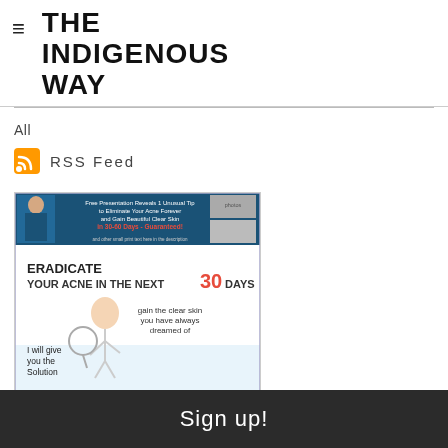THE INDIGENOUS WAY
All
RSS Feed
[Figure (infographic): Advertisement image showing acne treatment promotion. Text reads: 'Free Presentation Reveals 1 Unusual Tip to Eliminate Your Acne Forever and Gain Beautiful Clear Skin in 30-60 Days - Guaranteed!' with figure of woman. Also says 'ERADICATE YOUR ACNE IN THE NEXT 30 DAYS', 'gain the clear skin you have always dreamed of', 'I will give you the Solution'.]
Sign up!